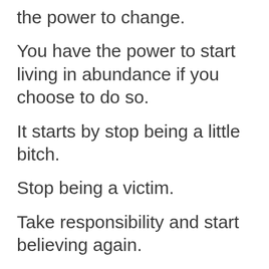the power to change.
You have the power to start living in abundance if you choose to do so.
It starts by stop being a little bitch.
Stop being a victim.
Take responsibility and start believing again.
Start dreaming again.